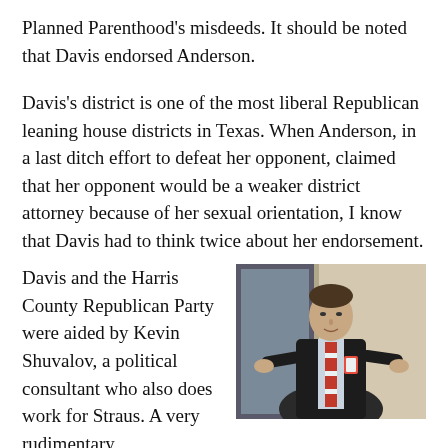Planned Parenthood's misdeeds. It should be noted that Davis endorsed Anderson.
Davis's district is one of the most liberal Republican leaning house districts in Texas. When Anderson, in a last ditch effort to defeat her opponent, claimed that her opponent would be a weaker district attorney because of her sexual orientation, I know that Davis had to think twice about her endorsement.
[Figure (photo): A man in a dark suit with a striped red and white tie, gesturing with both hands outstretched, standing in front of a wall with a mirror or window.]
Davis and the Harris County Republican Party were aided by Kevin Shuvalov, a political consultant who also does work for Straus. A very rudimentary